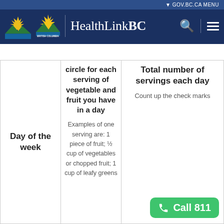GOV.BC.CA MENU | HealthLinkBC
| Day of the week | circle for each serving of vegetable and fruit you have in a day | Total number of servings each day |
| --- | --- | --- |
| Day of the week | circle for each serving of vegetable and fruit you have in a day
Examples of one serving are: 1 piece of fruit; ½ cup of vegetables or chopped fruit; 1 cup of leafy greens | Total number of servings each day
Count up the check marks |